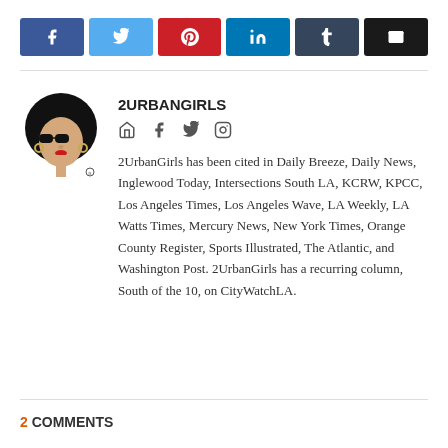[Figure (infographic): Social sharing buttons: Facebook (blue), Twitter (light blue), Pinterest (red), LinkedIn (dark blue), Tumblr (dark grey-blue), Email (black)]
[Figure (illustration): 2UrbanGirls logo: Black woman with large afro, sunglasses, red lips, hoop earrings, illustrated in black and white]
2URBANGIRLS
[Figure (infographic): Author social icons: home/website, Facebook, Twitter, Instagram]
2UrbanGirls has been cited in Daily Breeze, Daily News, Inglewood Today, Intersections South LA, KCRW, KPCC, Los Angeles Times, Los Angeles Wave, LA Weekly, LA Watts Times, Mercury News, New York Times, Orange County Register, Sports Illustrated, The Atlantic, and Washington Post. 2UrbanGirls has a recurring column, South of the 10, on CityWatchLA.
2 COMMENTS